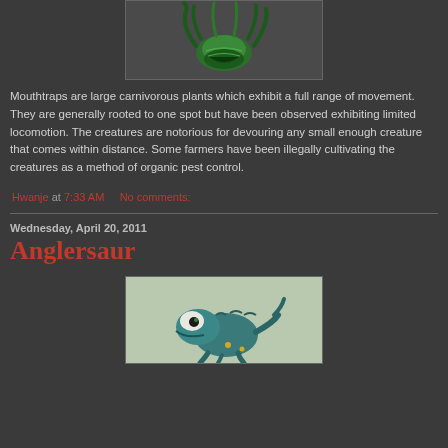[Figure (illustration): Green creature/plant illustration (Mouthtrap) with tentacles on dark background]
Mouthtraps are large carnivorous plants which exhibit a full range of movement. They are generally rooted to one spot but have been observed exhibiting limited locomotion. The creatures are notorious for devouring any small enough creature that comes within distance. Some farmers have been illegally cultivating the creatures as a method of organic pest control.
Hwanje at 7:33 AM    No comments:
Wednesday, April 20, 2011
Anglersaur
[Figure (illustration): Teal/green Anglersaur creature illustration on light grey-green background]